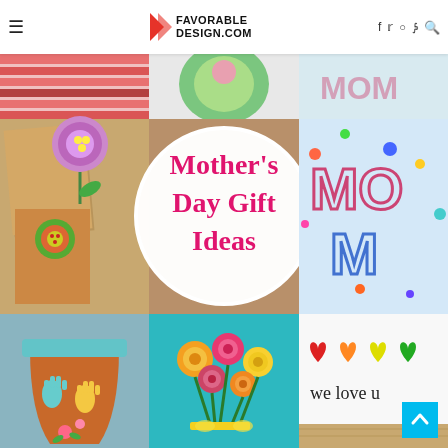FAVORABLE DESIGN.COM
[Figure (photo): Collage of Mother's Day gift ideas including handmade cards with paper flowers, a painted terracotta pot with handprints, paper flower bouquet on teal background, colorful MOM finger painting, and 'we love u' canvas with heart handprints. Central white circle overlay with text 'Mother's Day Gift Ideas'.]
Mother's Day Gift Ideas